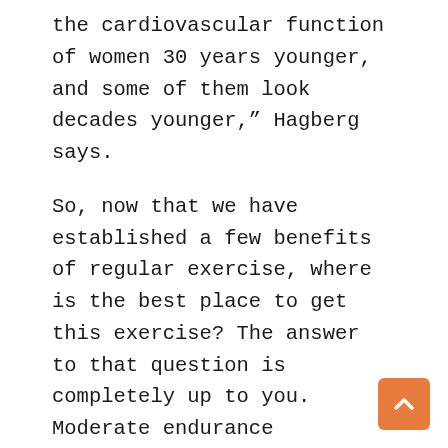the cardiovascular function of women 30 years younger, and some of them look decades younger,” Hagberg says.
So, now that we have established a few benefits of regular exercise, where is the best place to get this exercise? The answer to that question is completely up to you. Moderate endurance exercises include swimming, biking, walking and hiking, scrubbing a floor, and playing golf without a golf cart,. Strength exercises would include free weights or weight machines in a health spa. However, it is not necessary to go to a professional gymnasium for a complete exercise program. All you need is a little imagination. As a full scholarship wrestler at Oklahoma State